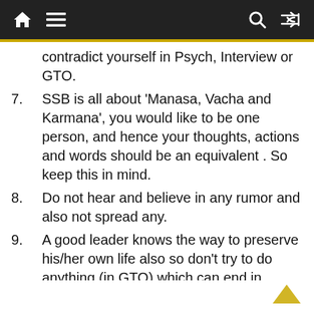Navigation bar with home, menu, search, and shuffle icons
contradict yourself in Psych, Interview or GTO.
7. SSB is all about ‘Manasa, Vacha and Karmana’, you would like to be one person, and hence your thoughts, actions and words should be an equivalent . So keep this in mind.
8. Do not hear and believe in any rumor and also not spread any.
9. A good leader knows the way to preserve his/her own life also so don’t try to do anything (in GTO) which can end in hurting yourself physically and thus disqualifying you from going any further within the SSB.
10. Remain enthusiastic and a cheerful person. a gloomy face is generally not admired by many.